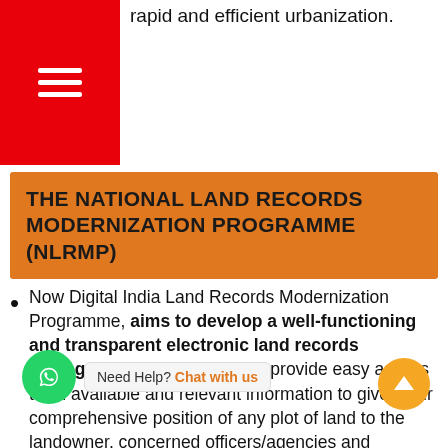rapid and efficient urbanization.
[Figure (other): Red hamburger menu icon block in top-left corner]
THE NATIONAL LAND RECORDS MODERNIZATION PROGRAMME (NLRMP)
Now Digital India Land Records Modernization Programme, aims to develop a well-functioning and transparent electronic land records management system that will provide easy access to all available and relevant information to give a fair comprehensive position of any plot of land to the landowner, concerned officers/agencies and interested persons/entrepreneurs.
This will improve real-time information on land, optimise use of land resources, benefit landowners, assist in policy and planning, reduce land disputes and check fraudulent/benami transactions.